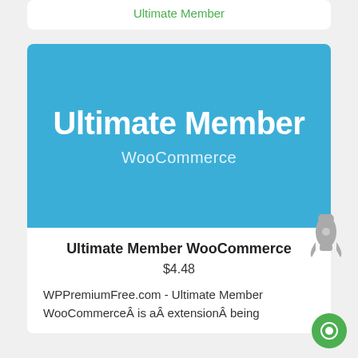Ultimate Member
[Figure (logo): Blue banner with white text 'Ultimate Member' and 'WooCommerce' subtitle on blue background]
Ultimate Member WooCommerce
$4.48
WPPremiumFree.com - Ultimate Member WooCommerceÂ is aÂ extensionÂ being